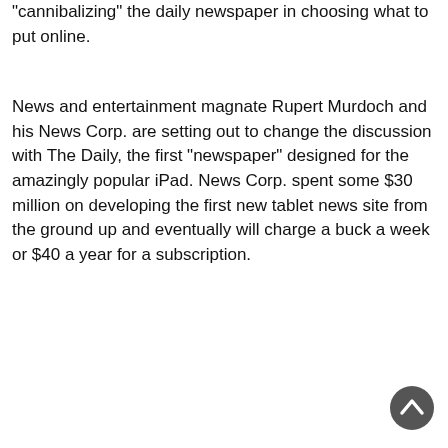“cannibalizing” the daily newspaper in choosing what to put online.
News and entertainment magnate Rupert Murdoch and his News Corp. are setting out to change the discussion with The Daily, the first “newspaper” designed for the amazingly popular iPad. News Corp. spent some $30 million on developing the first new tablet news site from the ground up and eventually will charge a buck a week or $40 a year for a subscription.
[Figure (other): A dark circular scroll-to-top button with an upward-pointing chevron arrow, positioned in the bottom-right corner of the page.]